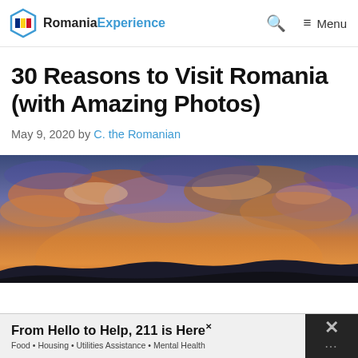Romania Experience — Menu
30 Reasons to Visit Romania (with Amazing Photos)
May 9, 2020 by C. the Romanian
[Figure (photo): A dramatic sunset sky over Romania with orange and purple clouds and silhouetted hills on the horizon.]
From Hello to Help, 211 is Here — Food • Housing • Utilities Assistance • Mental Health